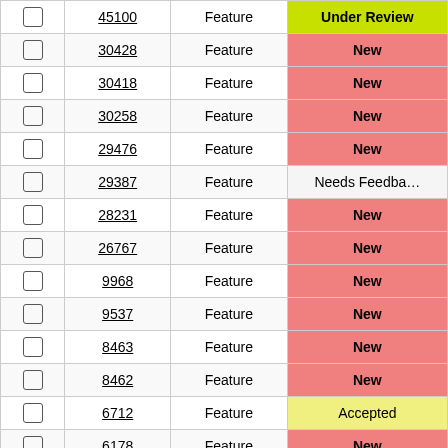|  | ID | Type | Status |
| --- | --- | --- | --- |
| ☐ | 45100 | Feature | Under Review |
| ☐ | 30428 | Feature | New |
| ☐ | 30418 | Feature | New |
| ☐ | 30258 | Feature | New |
| ☐ | 29476 | Feature | New |
| ☐ | 29387 | Feature | Needs Feedback |
| ☐ | 28231 | Feature | New |
| ☐ | 26767 | Feature | New |
| ☐ | 9968 | Feature | New |
| ☐ | 9537 | Feature | New |
| ☐ | 8463 | Feature | New |
| ☐ | 8462 | Feature | New |
| ☐ | 6712 | Feature | Accepted |
| ☐ | 6178 | Feature | New |
| ☐ | 5774 | Feature | New |
| ☐ | 5442 | Feature | New |